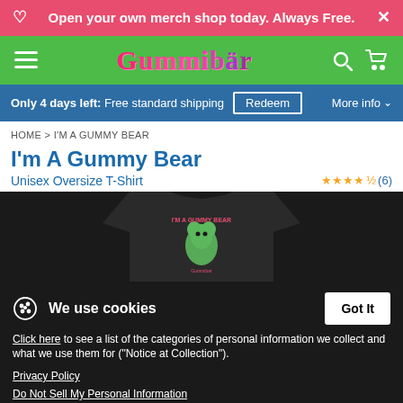Open your own merch shop today. Always Free.
[Figure (logo): Gummibär brand logo in pink/red bubbly script on green navigation bar]
Only 4 days left: Free standard shipping   Redeem   More info
HOME > I'M A GUMMY BEAR
I'm A Gummy Bear
Unisex Oversize T-Shirt
★★★★½ (6)
[Figure (photo): Black unisex oversize t-shirt with Gummy Bear graphic showing green gummy bear character and 'I'm a Gummy Bear' text]
We use cookies
Click here to see a list of the categories of personal information we collect and what we use them for ("Notice at Collection").
Privacy Policy
Do Not Sell My Personal Information
By using this website, I agree to the Terms and Conditions